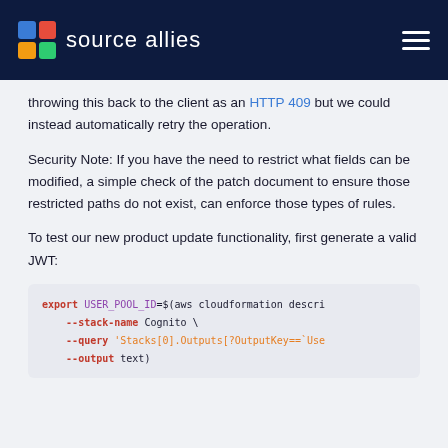source allies
throwing this back to the client as an HTTP 409 but we could instead automatically retry the operation.
Security Note: If you have the need to restrict what fields can be modified, a simple check of the patch document to ensure those restricted paths do not exist, can enforce those types of rules.
To test our new product update functionality, first generate a valid JWT:
[Figure (screenshot): Code block showing shell commands: export USER_POOL_ID=$(aws cloudformation descri --stack-name Cognito \ --query 'Stacks[0].Outputs[?OutputKey==`Use --output text)]